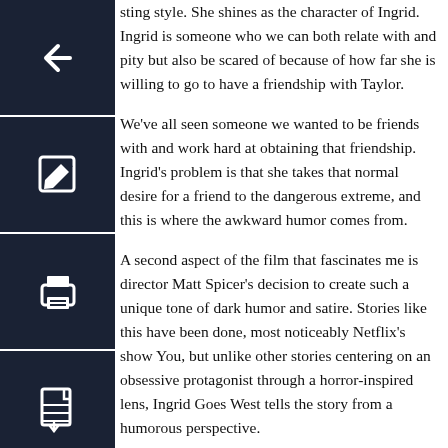sting style. She shines as the character of Ingrid. Ingrid is someone who we can both relate with and pity but also be scared of because of how far she is willing to go to have a friendship with Taylor.
We've all seen someone we wanted to be friends with and work hard at obtaining that friendship. Ingrid's problem is that she takes that normal desire for a friend to the dangerous extreme, and this is where the awkward humor comes from.
A second aspect of the film that fascinates me is director Matt Spicer's decision to create such a unique tone of dark humor and satire. Stories like this have been done, most noticeably Netflix's show You, but unlike other stories centering on an obsessive protagonist through a horror-inspired lens, Ingrid Goes West tells the story from a humorous perspective.
Ingrid cyberstalking Taylor, taking photos of her bathroom, and following her around LA is meant to be seen, taking photos of Taylor while she sleeps is at first, as weird, awkward, and yet cute and relatable to us in some abstract way. This movie is meant to act as an exaggeration of real-world situations and relationships.
More specifically, relationships that are both online and in person. The movie allows us to laugh at the absurdity of